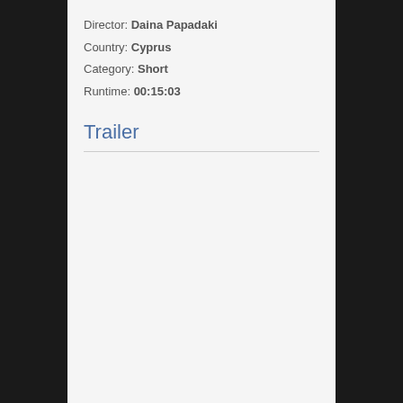Director: Daina Papadaki
Country: Cyprus
Category: Short
Runtime: 00:15:03
Trailer